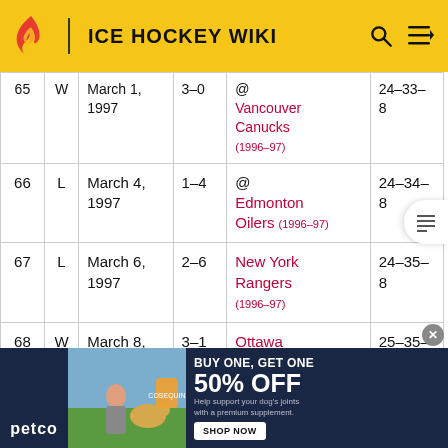ICE HOCKEY WIKI
| # | W/L | Date | Score | Opponent | Record |
| --- | --- | --- | --- | --- | --- |
| 65 | W | March 1, 1997 | 3–0 | @ Vancouver Canucks (1996–97) | 24–33–8 |
| 66 | L | March 4, 1997 | 1–4 | @ Edmonton Oilers (1996–97) | 24–34–8 |
| 67 | L | March 6, 1997 | 2–6 | New York Rangers (1996–97) | 24–35–8 |
| 68 | W | March 8, 1997 | 3–1 | Ottawa Senators | 25–35–8 |
[Figure (infographic): Petco advertisement: BUY ONE, GET ONE 50% OFF. Help support your dog's joints with a premium supplement. SHOP NOW button.]